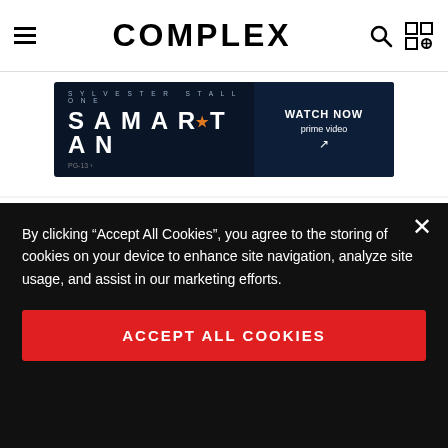COMPLEX
[Figure (screenshot): Samaritan movie advertisement for Amazon Prime Video with Sylvester Stallone text, orange logo, dark blue background, Watch Now button]
A page for “Beyoncé & Jay Z” has appeared on Ticketmaster UK’s official website!
pic.twitter.com/rSZyIrCcfZ
By clicking “Accept All Cookies”, you agree to the storing of cookies on your device to enhance site navigation, analyze site usage, and assist in our marketing efforts.
ACCEPT ALL COOKIES